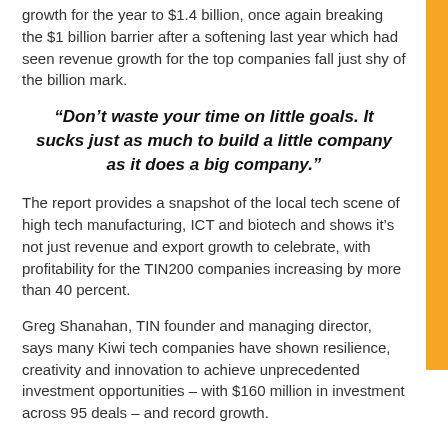growth for the year to $1.4 billion, once again breaking the $1 billion barrier after a softening last year which had seen revenue growth for the top companies fall just shy of the billion mark.
“Don’t waste your time on little goals. It sucks just as much to build a little company as it does a big company.”
The report provides a snapshot of the local tech scene of high tech manufacturing, ICT and biotech and shows it’s not just revenue and export growth to celebrate, with profitability for the TIN200 companies increasing by more than 40 percent.
Greg Shanahan, TIN founder and managing director, says many Kiwi tech companies have shown resilience, creativity and innovation to achieve unprecedented investment opportunities – with $160 million in investment across 95 deals – and record growth.